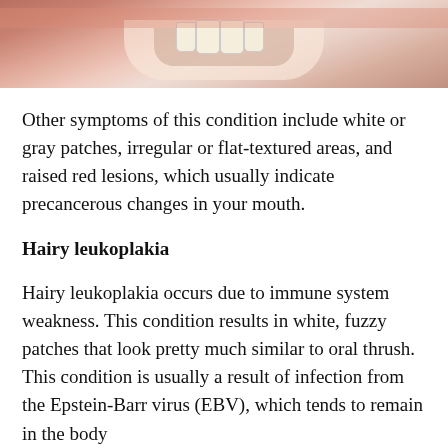[Figure (photo): Close-up photograph of a person's open mouth showing teeth and gum tissue, cropped at the top of the page]
Other symptoms of this condition include white or gray patches, irregular or flat-textured areas, and raised red lesions, which usually indicate precancerous changes in your mouth.
Hairy leukoplakia
Hairy leukoplakia occurs due to immune system weakness. This condition results in white, fuzzy patches that look pretty much similar to oral thrush. This condition is usually a result of infection from the Epstein-Barr virus (EBV), which tends to remain in the body